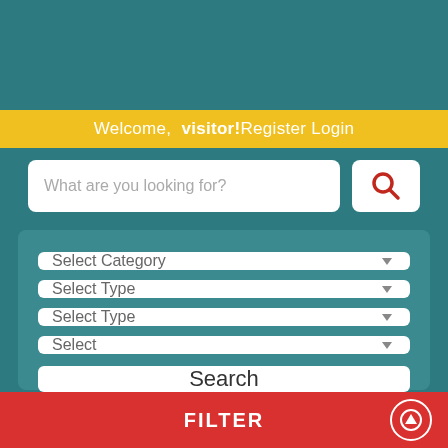Welcome, visitor! Register Login
What are you looking for?
Select Category
Select Type
Select Type
Select
Search
FILTER